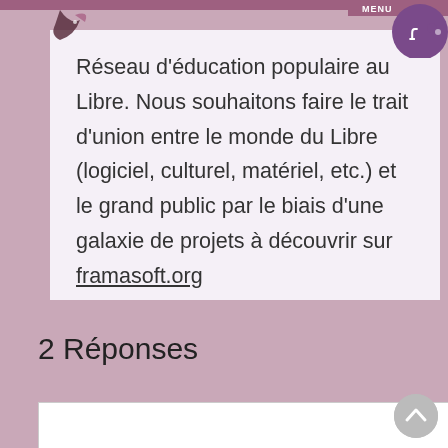[Figure (other): Top navigation bar with MENU button and purple circular logo with white bird/rocket icon]
Réseau d'éducation populaire au Libre. Nous souhaitons faire le trait d'union entre le monde du Libre (logiciel, culturel, matériel, etc.) et le grand public par le biais d'une galaxie de projets à découvrir sur framasoft.org
2 Réponses